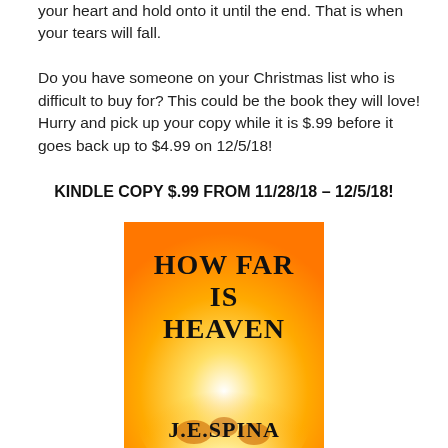your heart and hold onto it until the end. That is when your tears will fall.

Do you have someone on your Christmas list who is difficult to buy for? This could be the book they will love! Hurry and pick up your copy while it is $.99 before it goes back up to $4.99 on 12/5/18!
KINDLE COPY $.99 FROM 11/28/18 – 12/5/18!
[Figure (illustration): Book cover for 'How Far Is Heaven' by J.E. Spina. Orange and yellow gradient background with a bright white light radiating from the center bottom. Bold black serif text reads 'HOW FAR IS HEAVEN' at the top, and 'J.E. SPINA' at the bottom. Silhouettes of figures visible near the light source.]